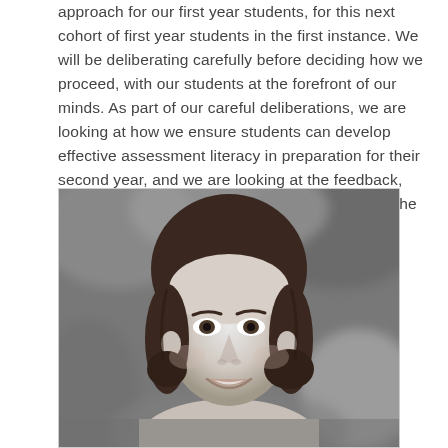approach for our first year students, for this next cohort of first year students in the first instance. We will be deliberating carefully before deciding how we proceed, with our students at the forefront of our minds. As part of our careful deliberations, we are looking at how we ensure students can develop effective assessment literacy in preparation for their second year, and we are looking at the feedback, ensuring this is meaningful and pertinent and in the spirit of feedforward.
[Figure (photo): Black and white portrait photograph of a young woman smiling, with hair pulled back, bokeh background of foliage.]